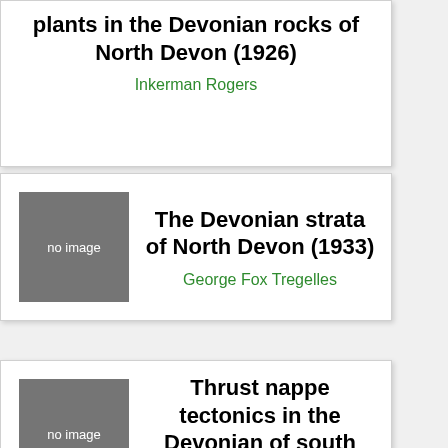plants in the Devonian rocks of North Devon (1926)
Inkerman Rogers
[Figure (other): Grey placeholder box with text 'no image']
The Devonian strata of North Devon (1933)
George Fox Tregelles
[Figure (other): Grey placeholder box with text 'no image']
Thrust nappe tectonics in the Devonian of south Cornwall and the